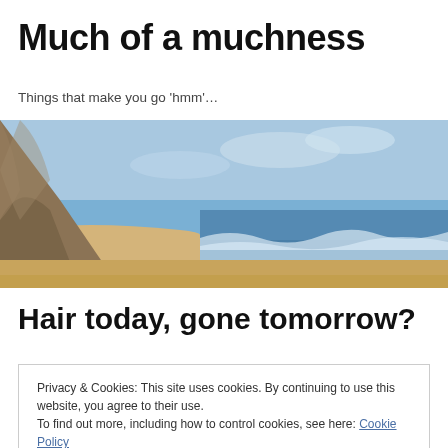Much of a muchness
Things that make you go 'hmm'…
[Figure (photo): A panoramic beach photo showing sandy shoreline with ocean waves on the right and tall sandy cliffs/dunes on the left under a blue sky.]
Hair today, gone tomorrow?
Privacy & Cookies: This site uses cookies. By continuing to use this website, you agree to their use.
To find out more, including how to control cookies, see here: Cookie Policy
Close and accept